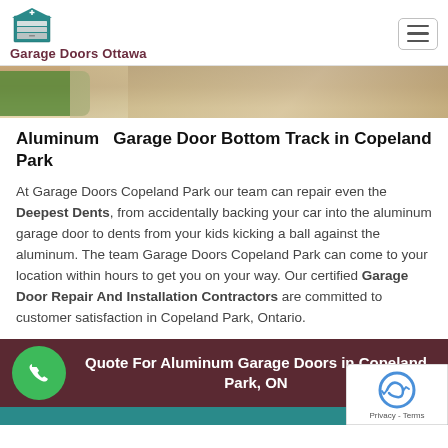Garage Doors Ottawa
[Figure (photo): Hero image showing garage door exterior with gravel driveway and greenery]
Aluminum  Garage Door Bottom Track in Copeland Park
At Garage Doors Copeland Park our team can repair even the Deepest Dents, from accidentally backing your car into the aluminum garage door to dents from your kids kicking a ball against the aluminum. The team Garage Doors Copeland Park can come to your location within hours to get you on your way. Our certified Garage Door Repair And Installation Contractors are committed to customer satisfaction in Copeland Park, Ontario.
Quote For Aluminum Garage Doors in Copeland Park, ON